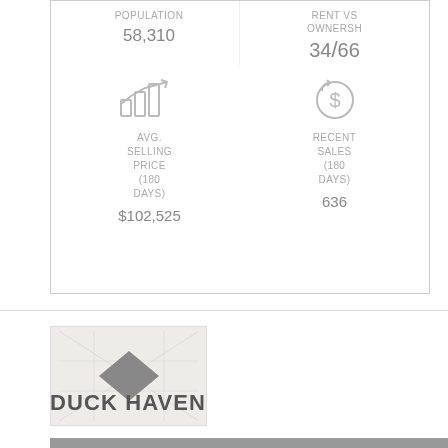[Figure (infographic): Real estate info card showing population 58,310, rent vs ownership 34/66, avg selling price (180 days) $102,525, recent sales (180 days) 636]
[Figure (illustration): Diamond/rhombus logo or map thumbnail with gray background and dark gray diamond shape in center]
DUCK HAVEN